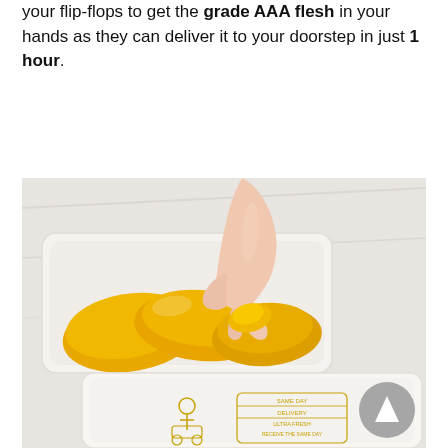your flip-flops to get the grade AAA flesh in your hands as they can deliver it to your doorstep in just 1 hour.
[Figure (photo): A hand picking up bright yellow durian flesh from a white container/tray. Below it is another sealed white container with printed delivery branding. Items are placed on a white marble surface.]